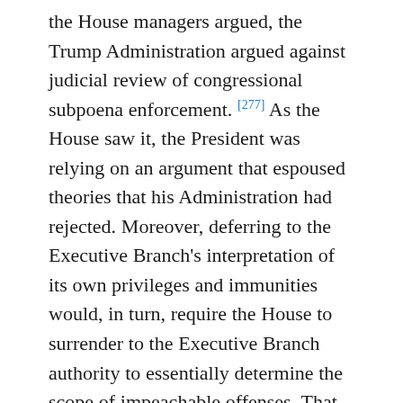the House managers argued, the Trump Administration argued against judicial review of congressional subpoena enforcement. [277] As the House saw it, the President was relying on an argument that espoused theories that his Administration had rejected. Moreover, deferring to the Executive Branch's interpretation of its own privileges and immunities would, in turn, require the House to surrender to the Executive Branch authority to essentially determine the scope of impeachable offenses. That would turn Article I, Section 2 on its head. This is not to say that the House should dispute the Executive's